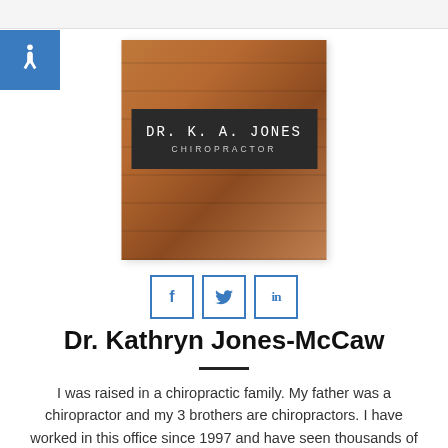[Figure (photo): Photo of a brick wall with a dark sign reading 'DR. K. A. JONES CHIROPRACTOR']
[Figure (infographic): Social media share buttons: Facebook (f), Twitter (bird icon), LinkedIn (in)]
Dr. Kathryn Jones-McCaw
I was raised in a chiropractic family. My father was a chiropractor and my 3 brothers are chiropractors. I have worked in this office since 1997 and have seen thousands of lives changed through chiropractic. I use the Activator